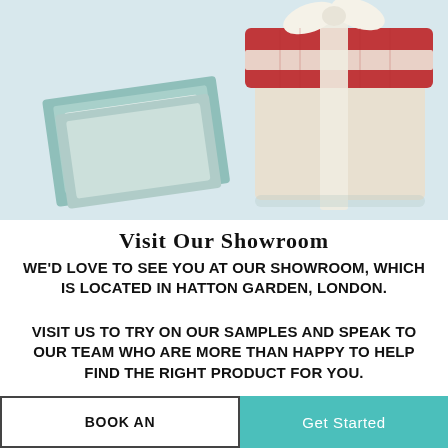[Figure (photo): Jewelry gift boxes — a teal open box with diamond stud earrings in front, and a red/cream closed gift box with a white bow ribbon behind, on a light blue-grey background.]
Visit Our Showroom
WE'D LOVE TO SEE YOU AT OUR SHOWROOM, WHICH IS LOCATED IN HATTON GARDEN, LONDON.
VISIT US TO TRY ON OUR SAMPLES AND SPEAK TO OUR TEAM WHO ARE MORE THAN HAPPY TO HELP FIND THE RIGHT PRODUCT FOR YOU.
BOOK AN APPOINTMENT | Get Started